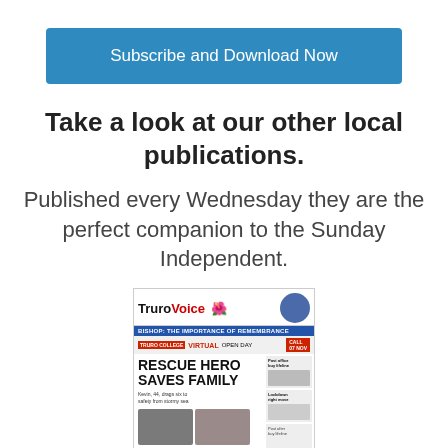[Figure (other): Blue 'Subscribe and Download Now' button]
Take a look at our other local publications.
Published every Wednesday they are the perfect companion to the Sunday Independent.
[Figure (screenshot): Front page of the Truro Voice newspaper showing headline 'RESCUE HERO SAVES FAMILY' with subheading 'Kevin, 44, drags six to safety from stormy sea', plus banners for 'Bishop: The Importance of Remembrance' and 'Virtual Open Day']